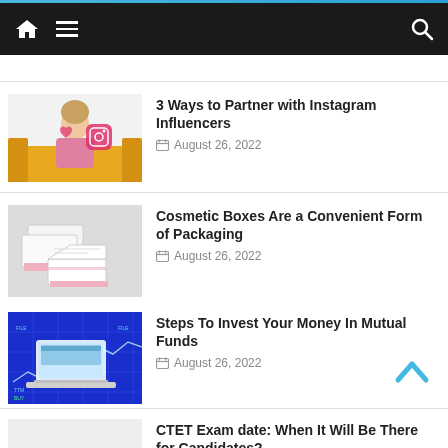Navigation bar with home icon, menu, and search
3 Ways to Partner with Instagram Influencers — August 26, 2022
Cosmetic Boxes Are a Convenient Form of Packaging — August 26, 2022
Steps To Invest Your Money In Mutual Funds — August 26, 2022
CTET Exam date: When It Will Be There for Candidates?